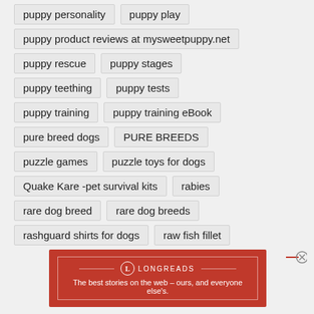puppy personality
puppy play
puppy product reviews at mysweetpuppy.net
puppy rescue
puppy stages
puppy teething
puppy tests
puppy training
puppy training eBook
pure breed dogs
PURE BREEDS
puzzle games
puzzle toys for dogs
Quake Kare -pet survival kits
rabies
rare dog breed
rare dog breeds
rashguard shirts for dogs
raw fish fillet
Advertisements
[Figure (other): Longreads advertisement banner: The best stories on the web – ours, and everyone else's.]